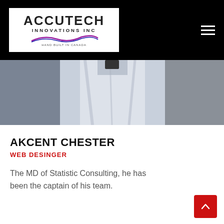[Figure (logo): Accutech Innovations Inc logo — white background with bold stylized text and wave graphic, tagline HAND BUILT IN CANADA]
[Figure (photo): Close-up photo of a person in a white dress shirt, torso/chest area visible, neutral background]
AKCENT CHESTER
WEB DESINGER
The MD of Statistic Consulting, he has been the captain of his team.